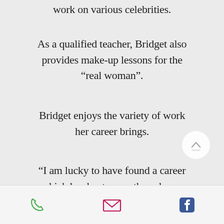work on various celebrities.
As a qualified teacher, Bridget also provides make-up lessons for the “real woman”.
Bridget enjoys the variety of work her career brings.
“I am lucky to have found a career which has kept me enthused over